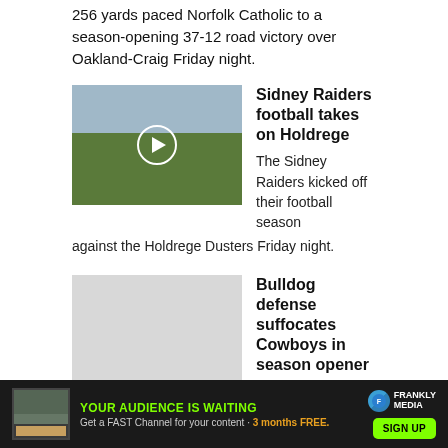256 yards paced Norfolk Catholic to a season-opening 37-12 road victory over Oakland-Craig Friday night.
[Figure (photo): Video thumbnail of football players on field with play button overlay; player wearing #41 catching or defending a pass]
Sidney Raiders football takes on Holdrege
The Sidney Raiders kicked off their football season against the Holdrege Dusters Friday night.
[Figure (photo): Light gray placeholder thumbnail image]
Bulldog defense suffocates Cowboys in season opener
Auburn ran the ball consistently and flew
[Figure (infographic): Advertisement banner: YOUR AUDIENCE IS WAITING - Get a FAST Channel for your content - 3 months FREE. Frankly Media logo and SIGN UP button.]